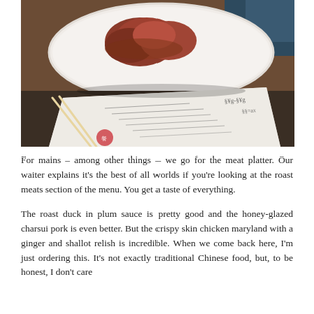[Figure (photo): A photo showing a white plate of roast meat (appears to be duck or dumplings with sauce) in the upper portion, with chopsticks and a Chinese restaurant menu visible below it, on a dark wooden table.]
For mains – among other things – we go for the meat platter. Our waiter explains it's the best of all worlds if you're looking at the roast meats section of the menu. You get a taste of everything.
The roast duck in plum sauce is pretty good and the honey-glazed charsui pork is even better. But the crispy skin chicken maryland with a ginger and shallot relish is incredible. When we come back here, I'm just ordering this. It's not exactly traditional Chinese food, but, to be honest, I don't care